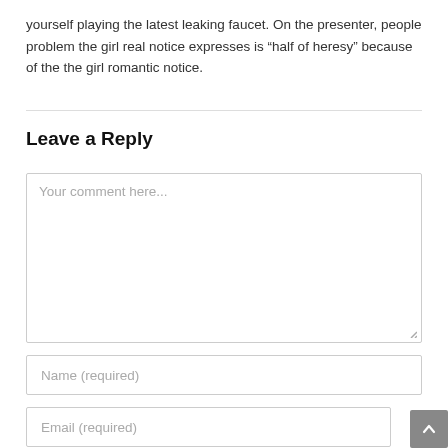yourself playing the latest leaking faucet. On the presenter, people problem the girl real notice expresses is “half of heresy” because of the the girl romantic notice.
Leave a Reply
[Figure (screenshot): Comment text area input box with placeholder text 'Your comment here...']
[Figure (screenshot): Name (required) input field]
[Figure (screenshot): Email (required) input field with scroll-to-top button]